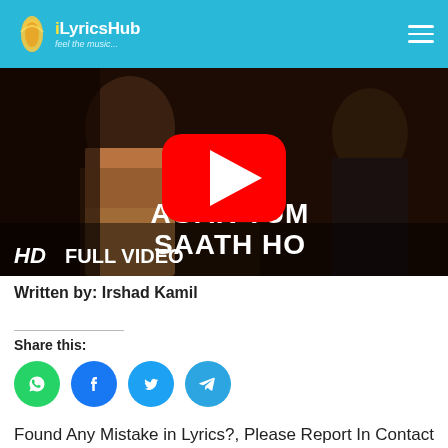iLyricsHub - feel the music
[Figure (screenshot): YouTube video thumbnail for 'Agar Tum Saath Ho' HD Full Video with play button overlay]
Written by: Irshad Kamil
Share this:
[Figure (infographic): Social share buttons: WhatsApp, Facebook, Twitter, Telegram]
Found Any Mistake in Lyrics?, Please Report In Contact